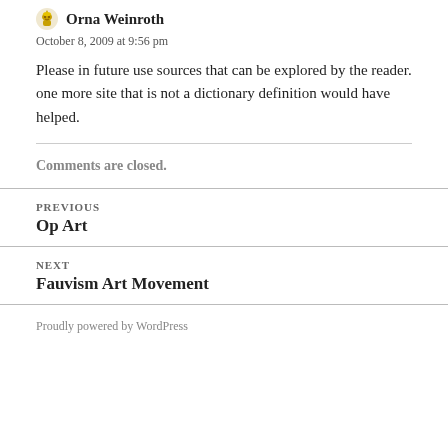Orna Weinroth
October 8, 2009 at 9:56 pm
Please in future use sources that can be explored by the reader. one more site that is not a dictionary definition would have helped.
Comments are closed.
PREVIOUS
Op Art
NEXT
Fauvism Art Movement
Proudly powered by WordPress